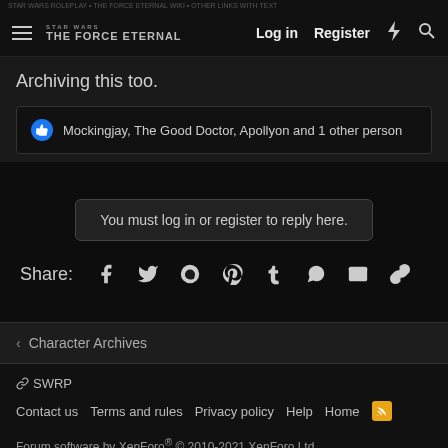THE FORCE ETERNAL — Log in | Register
Archiving this too.
Mockingjay, The Good Doctor, Apollyon and 1 other person
You must log in or register to reply here.
Share:
< Character Archives
SWRP
Contact us  Terms and rules  Privacy policy  Help  Home
Forum software by XenForo® © 2010-2021 XenForo Ltd. Quality Add-Ons made with ♥ by WMTech.